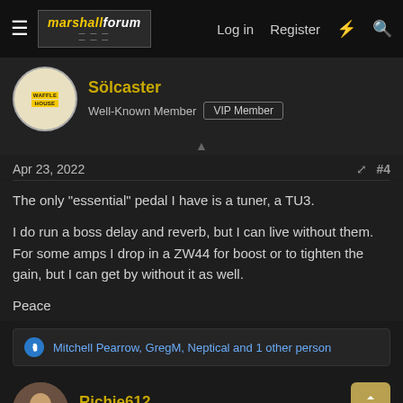marshallforum — Log in  Register
Soulcaster
Well-Known Member  VIP Member
Apr 23, 2022  #4
The only "essential" pedal I have is a tuner, a TU3.

I do run a boss delay and reverb, but I can live without them.
For some amps I drop in a ZW44 for boost or to tighten the gain, but I can get by without it as well.

Peace
Mitchell Pearrow, GregM, Neptical and 1 other person
Richie612
Active Member